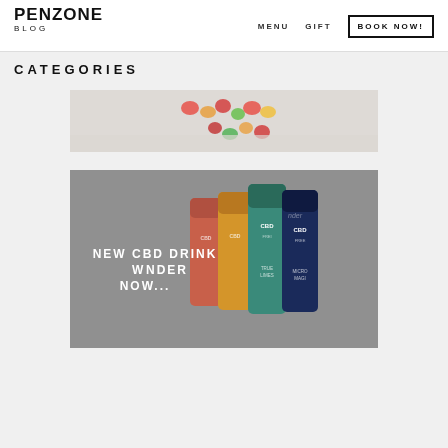PENZONE BLOG | MENU | GIFT | BOOK NOW!
CATEGORIES
[Figure (photo): Partial view of colorful gummy candy scattered on a white/light background]
[Figure (photo): CBD drink cans (Wunder brand) in various colors - orange, yellow, teal, dark blue - arranged on a gray background with overlay text reading NEW CBD DRINK WUNDER NOW...]